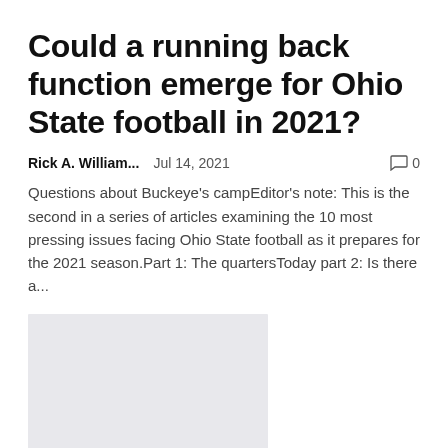Could a running back function emerge for Ohio State football in 2021?
Rick A. William...    Jul 14, 2021    💬 0
Questions about Buckeye's campEditor's note: This is the second in a series of articles examining the 10 most pressing issues facing Ohio State football as it prepares for the 2021 season.Part 1: The quartersToday part 2: Is there a...
[Figure (photo): Light gray placeholder image rectangle]